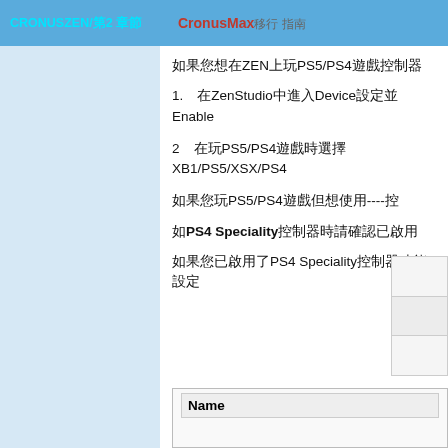CRONUSZEN/第2 章節 | CronusMax移行 指南
如果您想在ZEN上玩PS5/PS4遊戲控制器
1. 在ZenStudio中進入Device設定並Enable
2在玩PS5/PS4遊戲時選擇XB1/PS5/XSX/PS4
如果您玩PS5/PS4遊戲但想使用----控
如PS4 Speciality控制器時請確認已啟用
如果您已啟用了PS4 Speciality控制器功能設定
| Name |
| --- |